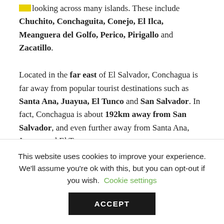looking across many islands. These include Chuchito, Conchaguita, Conejo, El Ilca, Meanguera del Golfo, Perico, Pirigallo and Zacatillo.
Located in the far east of El Salvador, Conchagua is far away from popular tourist destinations such as Santa Ana, Juayua, El Tunco and San Salvador. In fact, Conchagua is about 192km away from San Salvador, and even further away from Santa Ana, Juayua and El Tunco.
So, for many, getting to this volcano isn't easy.
This website uses cookies to improve your experience. We'll assume you're ok with this, but you can opt-out if you wish. Cookie settings
ACCEPT